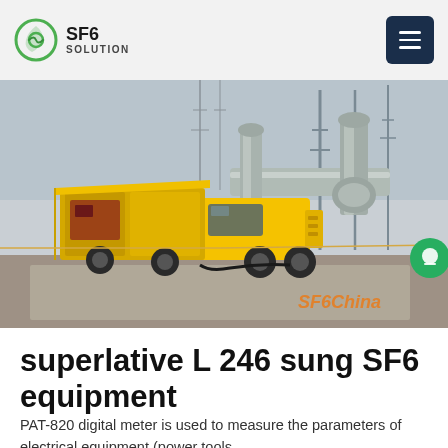SF6 SOLUTION
[Figure (photo): Yellow utility/service truck parked at an electrical substation with large SF6 gas-insulated equipment and transmission towers in the background. Watermark reads SF6China in orange italic text.]
superlative L 246 sung SF6 equipment
PAT-820 digital meter is used to measure the parameters of electrical equipment (power tools